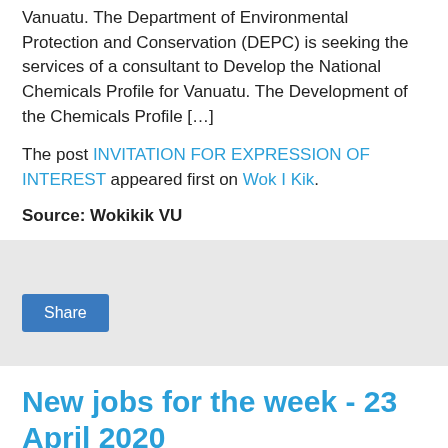Vanuatu. The Department of Environmental Protection and Conservation (DEPC) is seeking the services of a consultant to Develop the National Chemicals Profile for Vanuatu. The Development of the Chemicals Profile […]
The post INVITATION FOR EXPRESSION OF INTEREST appeared first on Wok I Kik.
Source: Wokikik VU
[Figure (other): Share button widget on grey background]
New jobs for the week - 23 April 2020
[Figure (illustration): Card with red arc/semicircle shape at bottom center on light grey background]